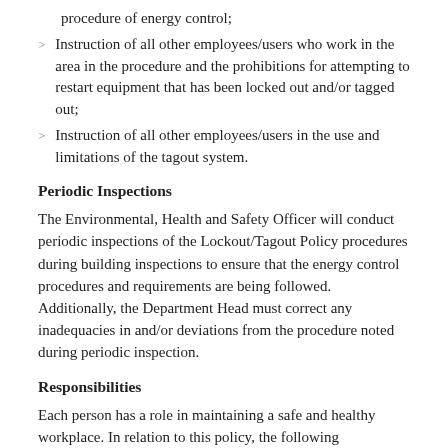procedure of energy control;
Instruction of all other employees/users who work in the area in the procedure and the prohibitions for attempting to restart equipment that has been locked out and/or tagged out;
Instruction of all other employees/users in the use and limitations of the tagout system.
Periodic Inspections
The Environmental, Health and Safety Officer will conduct periodic inspections of the Lockout/Tagout Policy procedures during building inspections to ensure that the energy control procedures and requirements are being followed. Additionally, the Department Head must correct any inadequacies in and/or deviations from the procedure noted during periodic inspection.
Responsibilities
Each person has a role in maintaining a safe and healthy workplace. In relation to this policy, the following responsibilities exist for employees, department heads, and the Environmental, Health and Safety Officer.
Employees